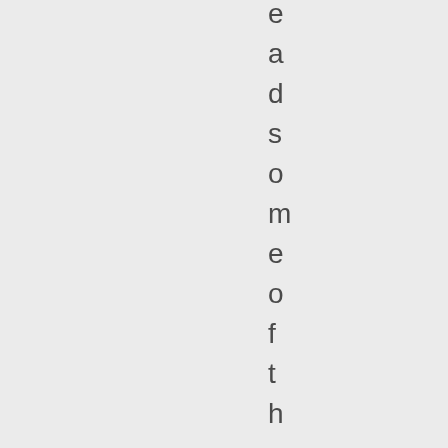e a d s o m e o f t h e H H . T h